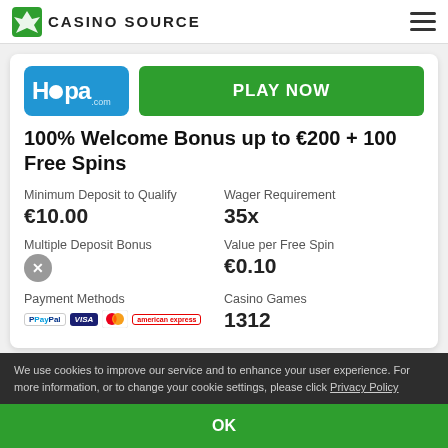CASINO SOURCE
[Figure (logo): Hopa.com casino logo in blue rounded rectangle]
PLAY NOW
100% Welcome Bonus up to €200 + 100 Free Spins
Minimum Deposit to Qualify
€10.00
Wager Requirement
35x
Multiple Deposit Bonus
✗
Value per Free Spin
€0.10
Payment Methods
Casino Games
1312
We use cookies to improve our service and to enhance your user experience. For more information, or to change your cookie settings, please click Privacy Policy
OK